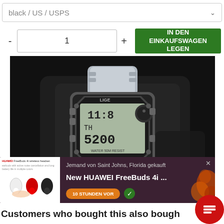black / US / USPS
- 1 + IN DEN EINKAUFSWAGEN LEGEN
[Figure (photo): Close-up product photo of a LIGE brand silver digital watch with stainless steel bracelet and rectangular LCD display showing time, on a dark background.]
Jemand von Saint Johns, Florida gekauft
New HUAWEI FreeBuds 4i ...
10 STUNDEN VOR
Customers who bought this also bought